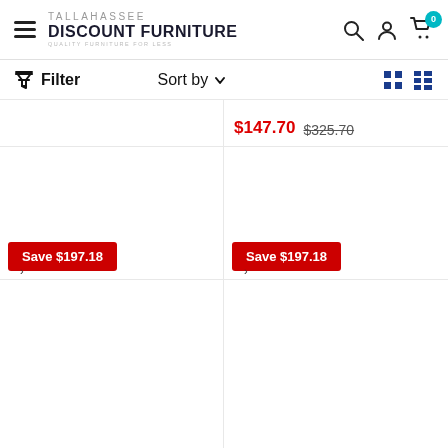Tallahassee Discount Furniture — Quality Furniture for Less
Filter | Sort by | Grid/List view toggle
$147.70  $325.70
[Figure (screenshot): Product listing grid showing two columns. Top-left cell has a white background product area (cropped). Top-right cell shows price: $147.70 sale price and $325.70 strikethrough original price. Both cells in the second row show 'Save $197.18' badges in red. Bottom two cells show white product listing areas.]
Save $197.18
Save $197.18